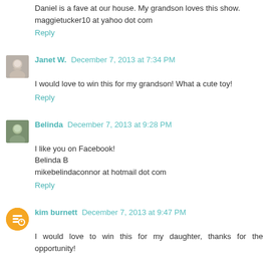Daniel is a fave at our house. My grandson loves this show.
maggietucker10 at yahoo dot com
Reply
Janet W.  December 7, 2013 at 7:34 PM
I would love to win this for my grandson! What a cute toy!
Reply
Belinda  December 7, 2013 at 9:28 PM
I like you on Facebook!
Belinda B
mikebelindaconnor at hotmail dot com
Reply
kim burnett  December 7, 2013 at 9:47 PM
I would love to win this for my daughter, thanks for the opportunity!